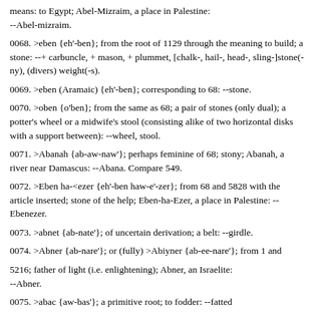means: to Egypt; Abel-Mizraim, a place in Palestine: --Abel-mizraim.
0068. >eben {eh'-ben}; from the root of 1129 through the meaning to build; a stone: --+ carbuncle, + mason, + plummet, [chalk-, hail-, head-, sling-]stone(-ny), (divers) weight(-s).
0069. >eben (Aramaic) {eh'-ben}; corresponding to 68: --stone.
0070. >oben {o'ben}; from the same as 68; a pair of stones (only dual); a potter's wheel or a midwife's stool (consisting alike of two horizontal disks with a support between): --wheel, stool.
0071. >Abanah {ab-aw-naw'}; perhaps feminine of 68; stony; Abanah, a river near Damascus: --Abana. Compare 549.
0072. >Eben ha-<ezer {eh'-ben haw-e'-zer}; from 68 and 5828 with the article inserted; stone of the help; Eben-ha-Ezer, a place in Palestine: --Ebenezer.
0073. >abnet {ab-nate'}; of uncertain derivation; a belt: --girdle.
0074. >Abner {ab-nare'}; or (fully) >Abiyner {ab-ee-nare'}; from 1 and
5216; father of light (i.e. enlightening); Abner, an Israelite: --Abner.
0075. >abac {aw-bas'}; a primitive root; to fodder: --fatted